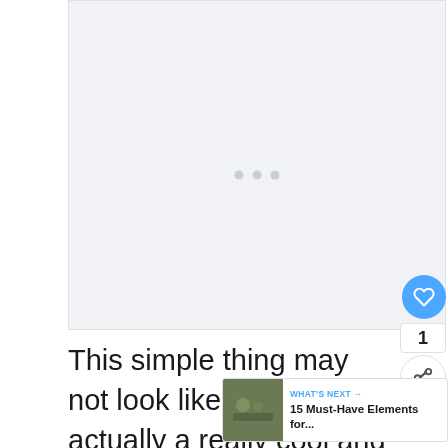[Figure (photo): Large image placeholder with light grey background and three loading dots in the center]
This simple thing may not look like much but it's actually a really cool and us... kitchen accessory and would make a nice
[Figure (screenshot): What's Next overlay with thumbnail and title: 15 Must-Have Elements for...]